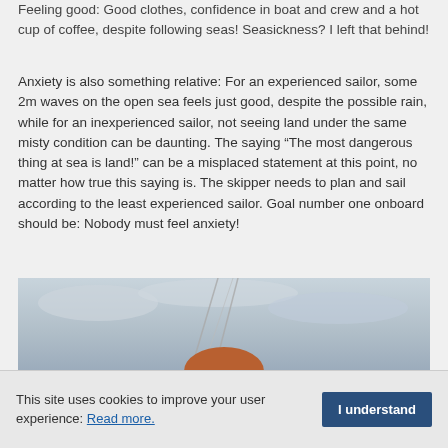Feeling good: Good clothes, confidence in boat and crew and a hot cup of coffee, despite following seas! Seasickness? I left that behind!
Anxiety is also something relative: For an experienced sailor, some 2m waves on the open sea feels just good, despite the possible rain, while for an inexperienced sailor, not seeing land under the same misty condition can be daunting. The saying “The most dangerous thing at sea is land!” can be a misplaced statement at this point, no matter how true this saying is. The skipper needs to plan and sail according to the least experienced sailor. Goal number one onboard should be: Nobody must feel anxiety!
[Figure (photo): Photo of a person with reddish hair on a boat, with sailing rigging visible against an overcast sky]
This site uses cookies to improve your user experience: Read more.